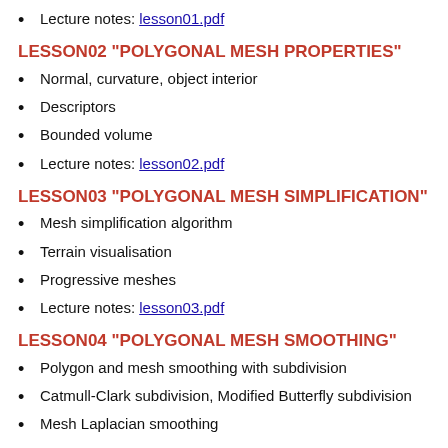Lecture notes: lesson01.pdf
LESSON02 "POLYGONAL MESH PROPERTIES"
Normal, curvature, object interior
Descriptors
Bounded volume
Lecture notes: lesson02.pdf
LESSON03 "POLYGONAL MESH SIMPLIFICATION"
Mesh simplification algorithm
Terrain visualisation
Progressive meshes
Lecture notes: lesson03.pdf
LESSON04 "POLYGONAL MESH SMOOTHING"
Polygon and mesh smoothing with subdivision
Catmull-Clark subdivision, Modified Butterfly subdivision
Mesh Laplacian smoothing